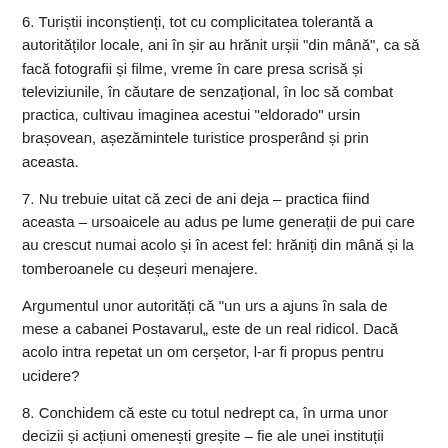6. Turiștii inconștienți, tot cu complicitatea tolerantă a autorităților locale, ani în șir au hrănit urșii "din mână", ca să facă fotografii și filme, vreme în care presa scrisă și televiziunile, în căutare de senzațional, în loc să combat practica, cultivau imaginea acestui "eldorado" ursin brașovean, așezămintele turistice prosperând și prin aceasta.
7. Nu trebuie uitat că zeci de ani deja – practica fiind aceasta – ursoaicele au adus pe lume generații de pui care au crescut numai acolo și în acest fel: hrăniți din mână și la tomberoanele cu deșeuri menajere.
Argumentul unor autorități că "un urs a ajuns în sala de mese a cabanei Postavarul„ este de un real ridicol. Dacă acolo intra repetat un om cerșetor, l-ar fi propus pentru ucidere?
8. Conchidem că este cu totul nedrept ca, în urma unor decizii și acțiuni omenești greșite – fie ale unei instituții științifice, fie ale comunității locale – urșii, deveniți victime comportametale, să fie acum uciși.
9. În condițiile tranchilizării și transportării animalelor la țarcul din Zărnești, considerăm că se impune luarea unor măsuri severe care, în